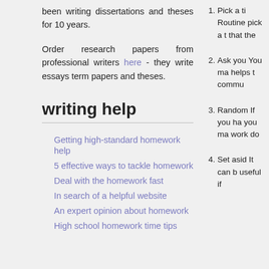been writing dissertations and theses for 10 years.
Order research papers from professional writers here - they write essays term papers and theses.
writing help
Getting high-standard homework help
5 effective ways to tackle homework
Deal with the homework fast
In search of a helpful website
An expert opinion about homework
High school homework time tips
1. Pick a ti Routine pick a t that the
2. Ask you You ma helps t commu
3. Random If you ha you ma work do
4. Set asid It can b useful if